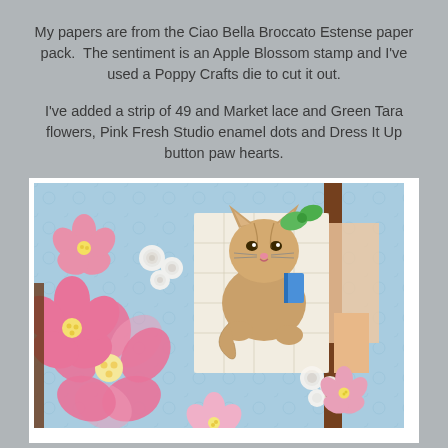My papers are from the Ciao Bella Broccato Estense paper pack.  The sentiment is an Apple Blossom stamp and I've used a Poppy Crafts die to cut it out.
I've added a strip of 49 and Market lace and Green Tara flowers, Pink Fresh Studio enamel dots and Dress It Up button paw hearts.
[Figure (photo): Close-up photo of a handmade craft card featuring a cute illustrated kitten with a green bow, surrounded by pink paper flowers of various sizes, small white roses, lace, and decorative elements on a blue patterned background.]